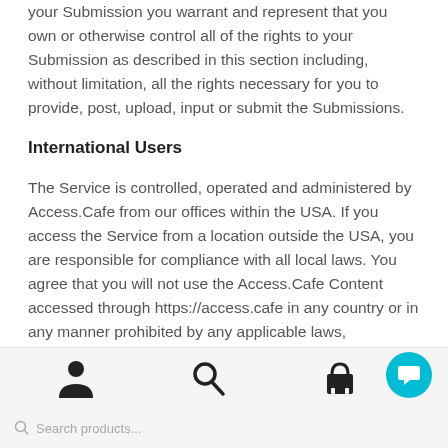your Submission you warrant and represent that you own or otherwise control all of the rights to your Submission as described in this section including, without limitation, all the rights necessary for you to provide, post, upload, input or submit the Submissions.
International Users
The Service is controlled, operated and administered by Access.Cafe from our offices within the USA. If you access the Service from a location outside the USA, you are responsible for compliance with all local laws. You agree that you will not use the Access.Cafe Content accessed through https://access.cafe in any country or in any manner prohibited by any applicable laws, restrictions or regulations.
Search products...